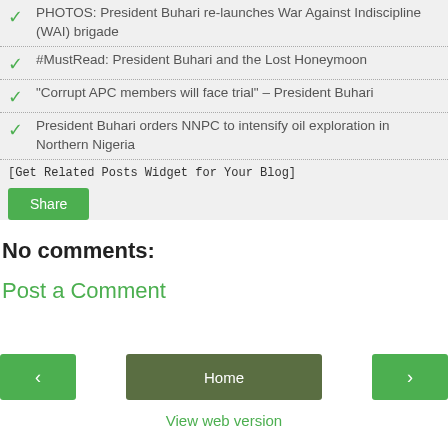PHOTOS: President Buhari re-launches War Against Indiscipline (WAI) brigade
#MustRead: President Buhari and the Lost Honeymoon
"Corrupt APC members will face trial" – President Buhari
President Buhari orders NNPC to intensify oil exploration in Northern Nigeria
[Get Related Posts Widget for Your Blog]
Share
No comments:
Post a Comment
‹ Home › View web version